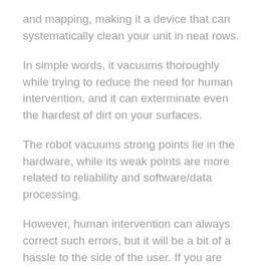and mapping, making it a device that can systematically clean your unit in neat rows.
In simple words, it vacuums thoroughly while trying to reduce the need for human intervention, and it can exterminate even the hardest of dirt on your surfaces.
The robot vacuums strong points lie in the hardware, while its weak points are more related to reliability and software/data processing.
However, human intervention can always correct such errors, but it will be a bit of a hassle to the side of the user. If you are considering buying the iRobot Roomba 981, you should be aware that it has its fair share of strengths and issues.